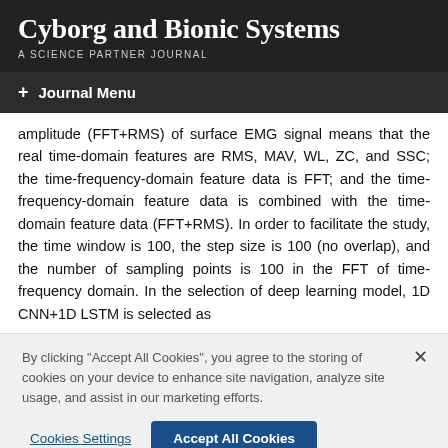Cyborg and Bionic Systems
A SCIENCE PARTNER JOURNAL
+ Journal Menu
amplitude (FFT+RMS) of surface EMG signal means that the real time-domain features are RMS, MAV, WL, ZC, and SSC; the time-frequency-domain feature data is FFT; and the time-frequency-domain feature data is combined with the time-domain feature data (FFT+RMS). In order to facilitate the study, the time window is 100, the step size is 100 (no overlap), and the number of sampling points is 100 in the FFT of time-frequency domain. In the selection of deep learning model, 1D CNN+1D LSTM is selected as
By clicking "Accept All Cookies", you agree to the storing of cookies on your device to enhance site navigation, analyze site usage, and assist in our marketing efforts.
Cookies Settings   Accept All Cookies